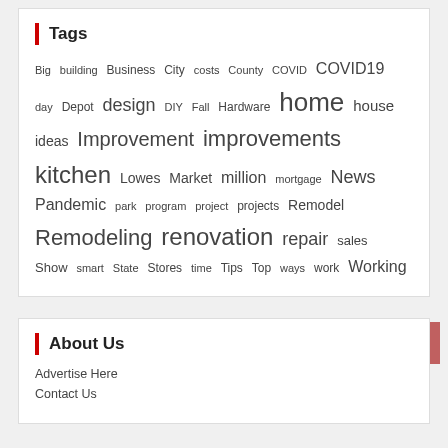Tags
Big building Business City costs County COVID COVID19 day Depot design DIY Fall Hardware home house ideas Improvement improvements kitchen Lowes Market million mortgage News Pandemic park program project projects Remodel Remodeling renovation repair sales Show smart State Stores time Tips Top ways work Working
About Us
Advertise Here
Contact Us